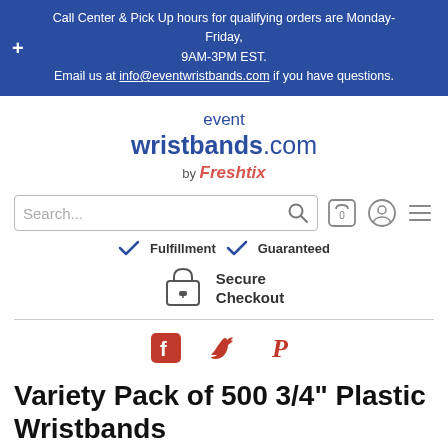Call Center & Pick Up hours for qualifying orders are Monday-Friday, 9AM-3PM EST. Email us at info@eventwristbands.com if you have questions.
[Figure (logo): eventwristbands.com by Freshtix logo]
[Figure (screenshot): Search bar with search icon, cart icon (0), user icon, and hamburger menu icon]
Fulfillment  Guaranteed
[Figure (illustration): Lock icon for Secure Checkout]
Secure Checkout
[Figure (illustration): Social share icons: Facebook, Twitter, Pinterest]
Variety Pack of 500 3/4" Plastic Wristbands
Our Variety Pack of 500 Plastic Event Wristbands includes five of our most popular colors. This great value